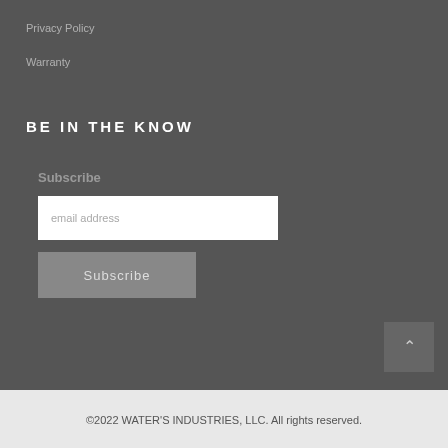Privacy Policy
Warranty
BE IN THE KNOW
Subscribe
email address
Subscribe
©2022 WATER'S INDUSTRIES, LLC. All rights reserved.